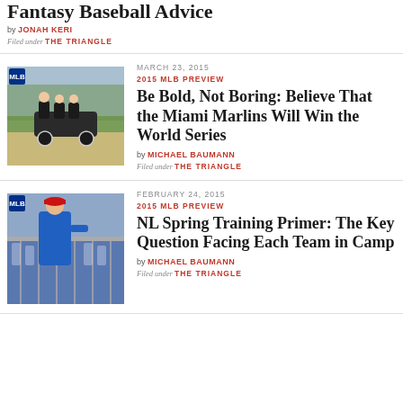Fantasy Baseball Advice
by JONAH KERI
Filed under THE TRIANGLE
MARCH 23, 2015
2015 MLB PREVIEW
[Figure (photo): Baseball players riding a cart on a path near a baseball field]
Be Bold, Not Boring: Believe That the Miami Marlins Will Win the World Series
by MICHAEL BAUMANN
Filed under THE TRIANGLE
FEBRUARY 24, 2015
2015 MLB PREVIEW
[Figure (photo): Baseball coach in blue jacket standing near a fence at spring training]
NL Spring Training Primer: The Key Question Facing Each Team in Camp
by MICHAEL BAUMANN
Filed under THE TRIANGLE